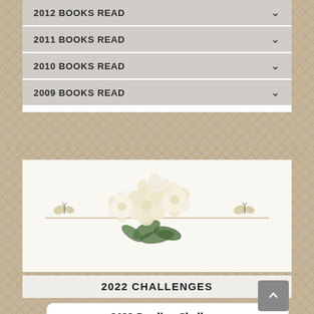2012 BOOKS READ
2011 BOOKS READ
2010 BOOKS READ
2009 BOOKS READ
[Figure (illustration): Decorative floral arrangement with white/cream flowers and green leaves, with small butterflies and a horizontal line element on a cream background]
2022 CHALLENGES
2022 Reading Challenge
Cheryl has read 7 books toward her goal of 50 books.